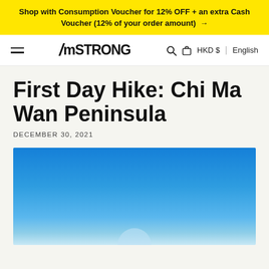Shop with Consumption Voucher for 12% OFF + an extra Cash Voucher (12% of your order amount) →
AmSTRONG  HKD $  English
First Day Hike: Chi Ma Wan Peninsula
DECEMBER 30, 2021
[Figure (photo): Outdoor photo showing a blue sky scene, likely from the Chi Ma Wan Peninsula hike.]